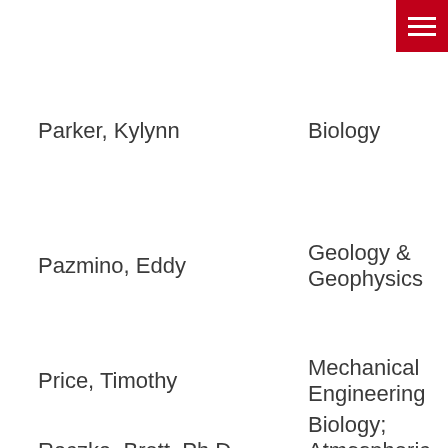[Figure (other): Red hamburger menu button in top-right corner]
Parker, Kylynn | Biology
Pazmino, Eddy | Geology & Geophysics
Price, Timothy | Mechanical Engineering
Raczka, Brett, Ph.D. | Biology; Atmospheric Science